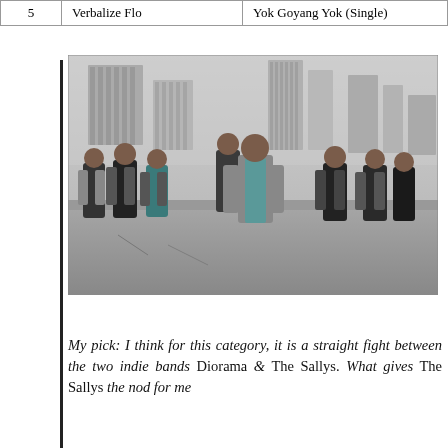|  |  |  |
| --- | --- | --- |
| 5 | Verbalize Flo | Yok Goyang Yok (Single) |
[Figure (photo): Group photo of seven young people (a music band) standing on a rooftop with city skyscrapers in the background, in black and white tones.]
My pick: I think for this category, it is a straight fight between the two indie bands Diorama & The Sallys. What gives The Sallys the nod for me